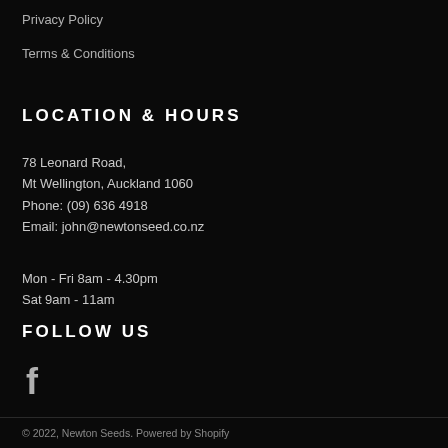Privacy Policy
Terms & Conditions
LOCATION & HOURS
78 Leonard Road,
Mt Wellington, Auckland 1060
Phone: (09) 636 4918
Email: john@newtonseed.co.nz
Mon - Fri 8am - 4.30pm
Sat 9am - 11am
FOLLOW US
[Figure (illustration): Facebook icon (f)]
© 2022, Newton Seeds. Powered by Shopify